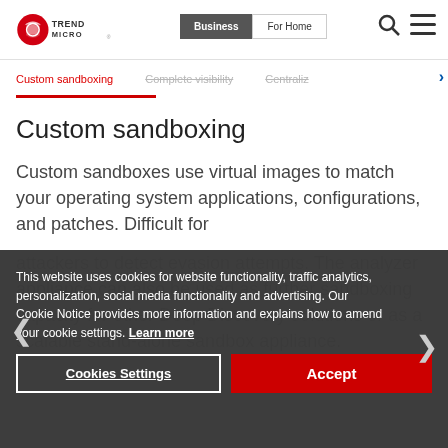[Figure (logo): Trend Micro logo with red circular icon and TREND MICRO text]
[Figure (screenshot): Navigation bar with Business and For Home buttons, search and menu icons]
Custom sandboxing
Custom sandboxes use virtual images to match your operating system applications, configurations, and patches. Difficult for attackers to detect evasion attempts. The analyzer appliance can also be used as further sandboxing capacity for other Deep Discovery solutions or as a scalable stand-alone sandbox appliance.
This website uses cookies for website functionality, traffic analytics, personalization, social media functionality and advertising. Our Cookie Notice provides more information and explains how to amend your cookie settings. Learn more